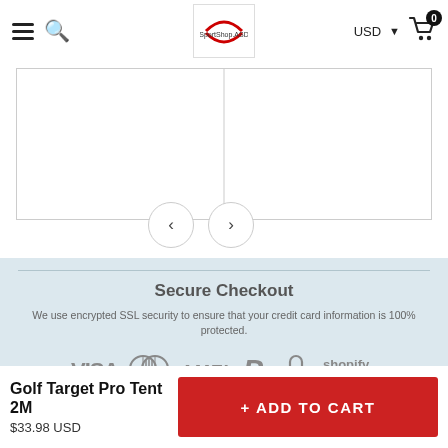≡ 🔍  [Logo]  USD ▾ 🛒 0
[Figure (screenshot): Product image gallery area with vertical center divider line, left and right navigation arrow buttons at bottom]
Secure Checkout
We use encrypted SSL security to ensure that your credit card information is 100% protected.
[Figure (infographic): Payment method icons: VISA, Mastercard, AMEX, PayPal, Lock icon, Shopify Secure]
Golf Target Pro Tent 2M
$33.98 USD
+ ADD TO CART